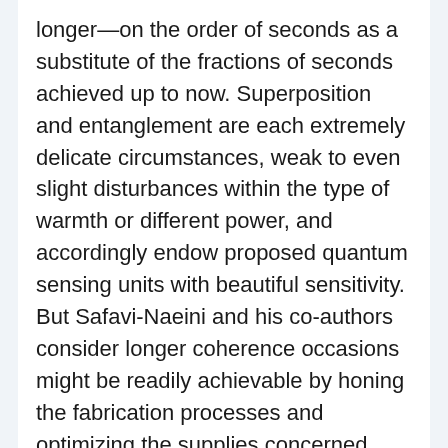longer—on the order of seconds as a substitute of the fractions of seconds achieved up to now. Superposition and entanglement are each extremely delicate circumstances, weak to even slight disturbances within the type of warmth or different power, and accordingly endow proposed quantum sensing units with beautiful sensitivity. But Safavi-Naeini and his co-authors consider longer coherence occasions might be readily achievable by honing the fabrication processes and optimizing the supplies concerned.
“We’ve improved the performance of our system over the last four years by nearly 10 times every year,” mentioned Safavi-Naeini. “Moving forward, we will continue to make